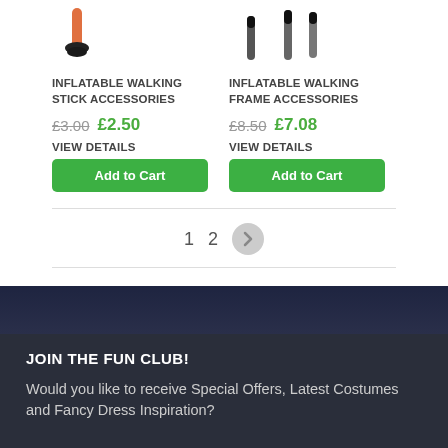[Figure (photo): Product image of inflatable walking stick accessories - orange and black tip]
INFLATABLE WALKING STICK ACCESSORIES
£3.00  £2.50
VIEW DETAILS
Add to Cart
[Figure (photo): Product image of inflatable walking frame accessories - black and grey handles]
INFLATABLE WALKING FRAME ACCESSORIES
£8.50  £7.08
VIEW DETAILS
Add to Cart
1  2  >
JOIN THE FUN CLUB!
Would you like to receive Special Offers, Latest Costumes and Fancy Dress Inspiration?